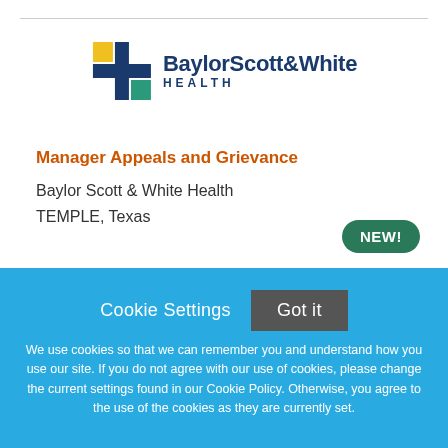[Figure (logo): Baylor Scott & White Health logo with blue cross symbol and text]
Manager Appeals and Grievance
Baylor Scott & White Health
TEMPLE, Texas
NEW!
Cookie Settings  Got it
We use cookies so that we can remember you and understand how you use our site. If you do not agree with our use of cookies, please change the current settings found in our Cookie Policy. Otherwise, you agree to the use of the cookies as they are currently set.